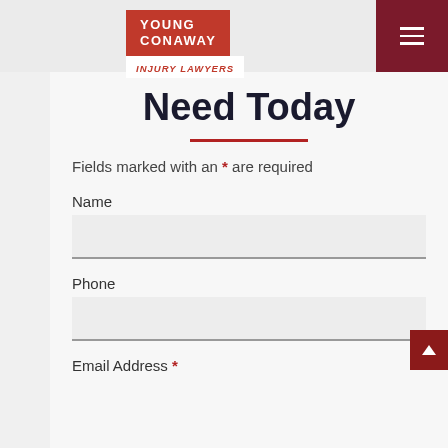Young Conaway Injury Lawyers
Need Today
Fields marked with an * are required
Name
Phone
Email Address *